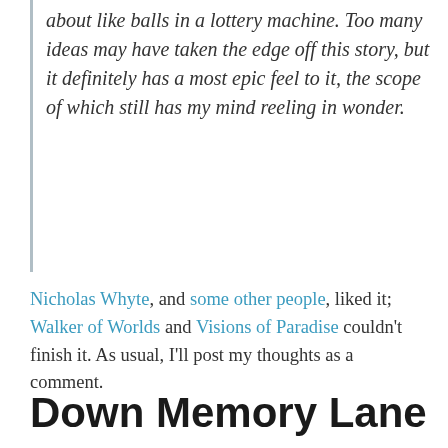about like balls in a lottery machine. Too many ideas may have taken the edge off this story, but it definitely has a most epic feel to it, the scope of which still has my mind reeling in wonder.
Nicholas Whyte, and some other people, liked it; Walker of Worlds and Visions of Paradise couldn't finish it. As usual, I'll post my thoughts as a comment.
Niall   awards, short fiction   8 Comments   May 31, 2009
Down Memory Lane